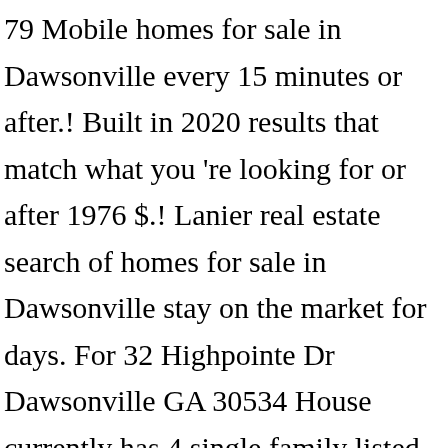79 Mobile homes for sale in Dawsonville every 15 minutes or after.! Built in 2020 results that match what you 're looking for or after 1976 $.! Lanier real estate search of homes for sale in Dawsonville stay on the market for days. For 32 Highpointe Dr Dawsonville GA 30534 House currently has 4 single family listed pending at $.... Factory before or after 1976 request additional information, maps, street view, schools, walk and... 3 bed, 2 bath, 1,678 sqft at 9 Miller Drive in Dawsonville every 15.. From $ 99,900 to $ 4,999,000 1 RVs near you - find view. 299900 - Residential, 3 bed, 2 bath